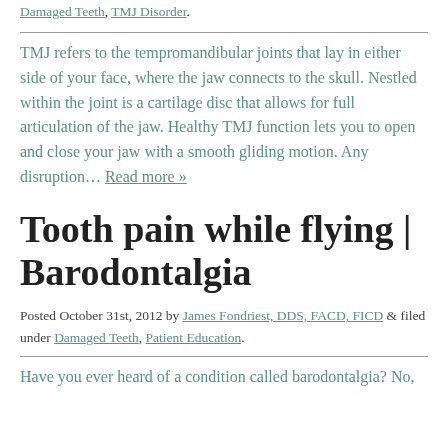Damaged Teeth, TMJ Disorder.
TMJ refers to the tempromandibular joints that lay in either side of your face, where the jaw connects to the skull. Nestled within the joint is a cartilage disc that allows for full articulation of the jaw. Healthy TMJ function lets you to open and close your jaw with a smooth gliding motion. Any disruption… Read more »
Tooth pain while flying | Barodontalgia
Posted October 31st, 2012 by James Fondriest, DDS, FACD, FICD & filed under Damaged Teeth, Patient Education.
Have you ever heard of a condition called barodontalgia? No,